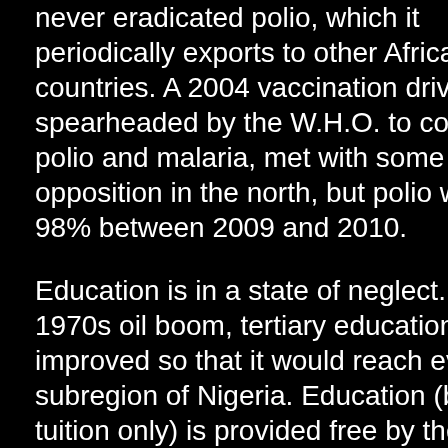never eradicated polio, which it periodically exports to other African countries. A 2004 vaccination drive, spearheaded by the W.H.O. to combat polio and malaria, met with some opposition in the north, but polio was cut 98% between 2009 and 2010.
Education is in a state of neglect. After the 1970s oil boom, tertiary education was improved so that it would reach every subregion of Nigeria. Education (base tuition only) is provided free by the government, but the attendance rate for secondary education is only 29% (32% for males, 27% for females). The education system has been described as "dysfunctional" largely because of decaying